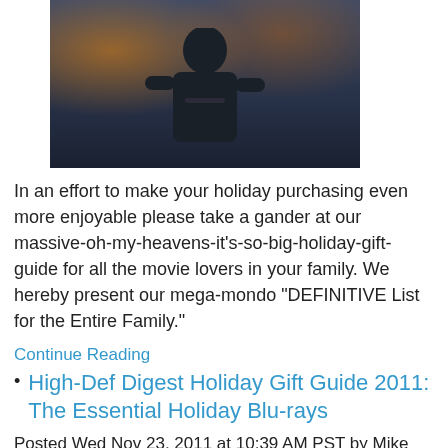[Figure (photo): Performance photo of a person singing on stage with bokeh lights in background, wearing a dark jacket]
In an effort to make your holiday purchasing even more enjoyable please take a gander at our massive-oh-my-heavens-it's-so-big-holiday-gift-guide for all the movie lovers in your family. We hereby present our mega-mondo "DEFINITIVE List for the Entire Family."
Continue Reading
High-Def Digest Holiday Gift Guide 2011: The Essential Holiday Blu-rays
Posted Wed Nov 23, 2011 at 10:39 AM PST by Mike Attebery
[Figure (photo): Scene from a movie or show featuring people in period costumes outdoors in a winter setting with snowmen]